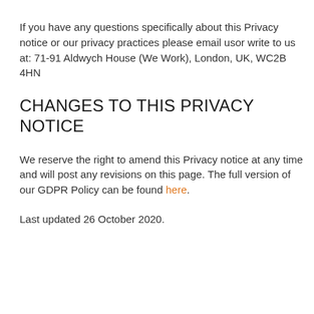If you have any questions specifically about this Privacy notice or our privacy practices please email usor write to us at: 71-91 Aldwych House (We Work), London, UK, WC2B 4HN
CHANGES TO THIS PRIVACY NOTICE
We reserve the right to amend this Privacy notice at any time and will post any revisions on this page. The full version of our GDPR Policy can be found here.
Last updated 26 October 2020.